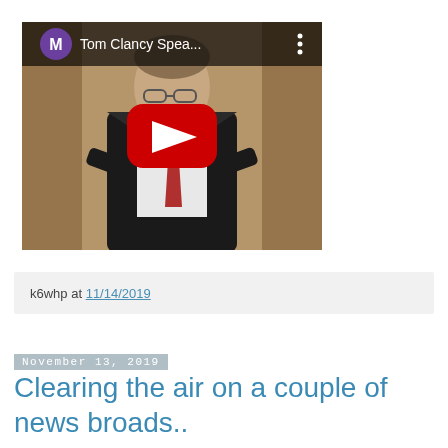[Figure (screenshot): YouTube video thumbnail showing a man in a dark suit with glasses and a red tie standing at a podium, with a YouTube play button overlay. Title bar shows 'M Tom Clancy Spea...' with a three-dot menu icon.]
k6whp at 11/14/2019
November 13, 2019
Clearing the air on a couple of news broads..